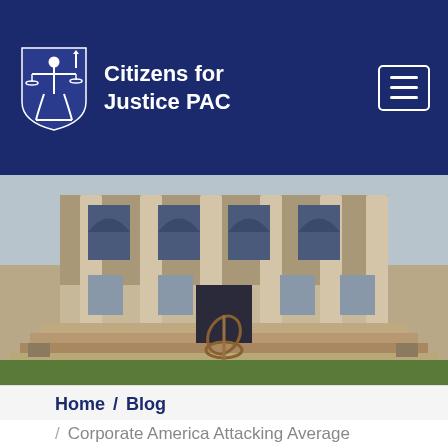Citizens for Justice PAC
[Figure (photo): Exterior photograph of a neoclassical government/courthouse building with tall stone columns, arched windows, wide steps, and a modern abstract metal sculpture in the foreground surrounded by green grass]
Home / Blog
Corporate America Attacking Average